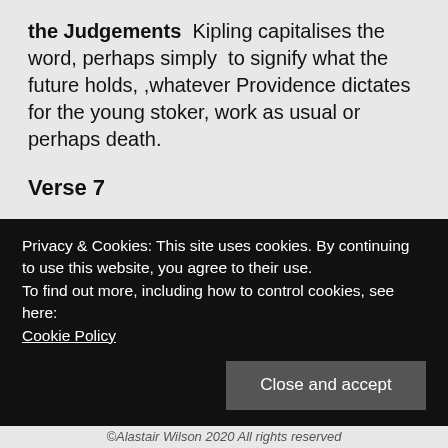the Judgements  Kipling capitalises the word, perhaps simply  to signify what the future holds, ,whatever Providence dictates for the young stoker, work as usual or perhaps death.
Verse 7
And I'm sorry for Fritz 'Fritz' was a generic name for all Germans during World War I – in World War II the equivalent was 'Gerry'. 'Fritz' was a ...
Privacy & Cookies: This site uses cookies. By continuing to use this website, you agree to their use.
To find out more, including how to control cookies, see here:
Cookie Policy
©Alastair Wilson 2020 All rights reserved